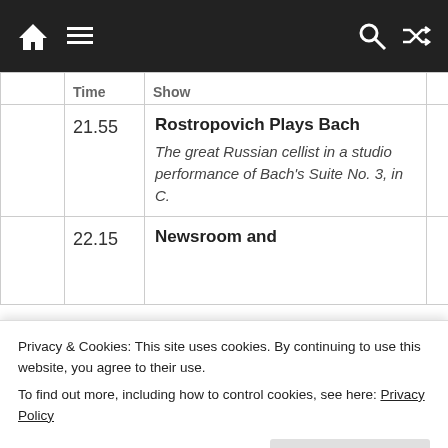Navigation bar with home, menu, search, and shuffle icons
|  | Time | Show |  |
| --- | --- | --- | --- |
|  | 21.55 | Rostropovich Plays Bach
The great Russian cellist in a studio performance of Bach's Suite No. 3, in C. |  |
|  | 22.15 | Newsroom and Weather |  |
Privacy & Cookies: This site uses cookies. By continuing to use this website, you agree to their use.
To find out more, including how to control cookies, see here: Privacy Policy
first single Hey Joe, at De Lane Lea studios in